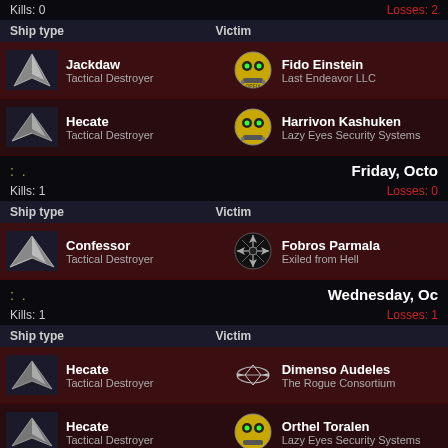Kills: 0    Losses: 2
| Ship type | Victim |
| --- | --- |
| Jackdaw / Tactical Destroyer | Fido Einstein / Last Endeavor LLC |
| Hecate / Tactical Destroyer | Harrivon Kashuken / Lazy Eyes Security Systems |
Friday, Octo...
Kills: 1    Losses: 0
| Ship type | Victim |
| --- | --- |
| Confessor / Tactical Destroyer | Fobros Parmala / Exiled from Hell |
Wednesday, Oc...
Kills: 1    Losses: 1
| Ship type | Victim |
| --- | --- |
| Hecate / Tactical Destroyer | Dimenso Audeles / The Rogue Consortium |
| Hecate / Tactical Destroyer | Orthel Toralen / Lazy Eyes Security Systems |
Tuesday, Octo...
Kills: 3    Losses: 0
| Ship type | Victim |
| --- | --- |
| Jackdaw | Ebony Bax |